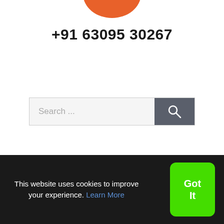[Figure (logo): Partial orange circular logo visible at top of page]
+91 63095 30267
[Figure (other): Search bar with text 'Search ...' and a dark grey search button with magnifying glass icon]
This website uses cookies to improve your experience. Learn More
Got It